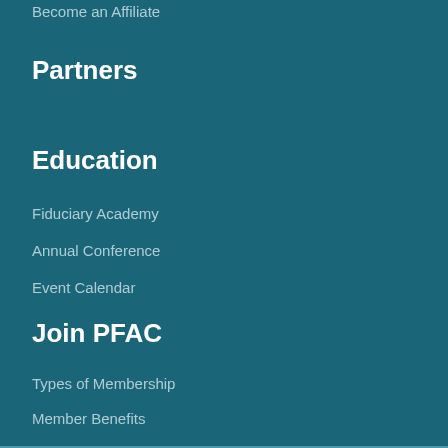Become an Affiliate
Partners
Education
Fiduciary Academy
Annual Conference
Event Calendar
Join PFAC
Types of Membership
Member Benefits
Publications